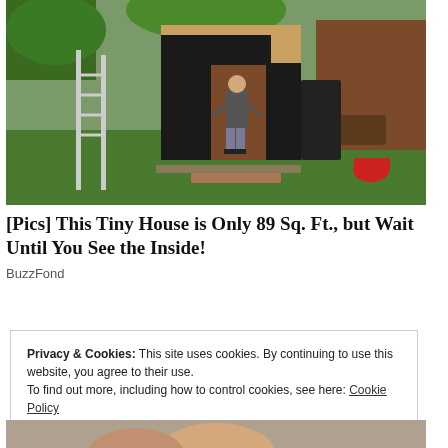[Figure (photo): A boy standing in the doorway of a small black-wrapped structure in a backyard. A ladder is visible on the left, greenery and a wooden fence in the background. Red planter pot visible at right.]
[Pics] This Tiny House is Only 89 Sq. Ft., but Wait Until You See the Inside!
BuzzFond
Privacy & Cookies: This site uses cookies. By continuing to use this website, you agree to their use.
To find out more, including how to control cookies, see here: Cookie Policy
Close and accept
[Figure (photo): Partial image of a person's face at the bottom of the page, cropped.]